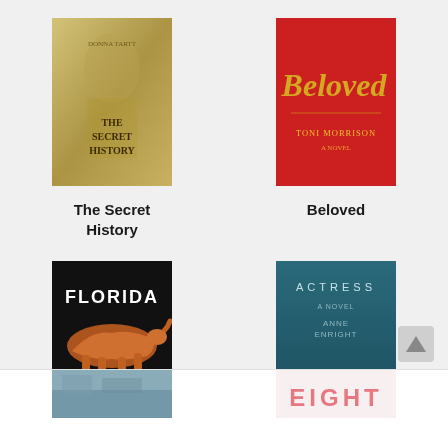[Figure (illustration): Book cover: The Secret History by Donna Tartt, golden/tan cover with faded figure]
[Figure (illustration): Book cover: Beloved by Toni Morrison, bright red cover with gold script title]
The Secret History
Beloved
[Figure (illustration): Book cover: Florida by Lauren Groff, black cover with orange panther]
[Figure (illustration): Book cover: Actress by Anne Enright, teal cover with face]
Florida
Actress
[Figure (illustration): Partial book cover at bottom left (partially visible)]
[Figure (illustration): Partial book cover at bottom right (partially visible, text reads EIGHT in pink)]